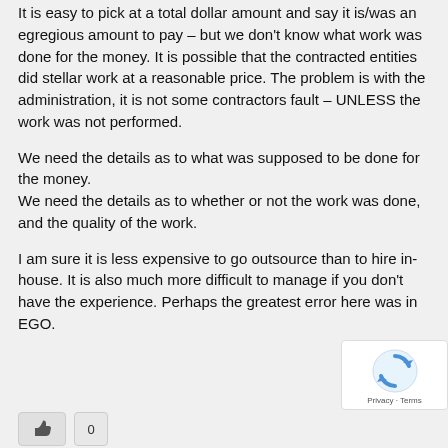It is easy to pick at a total dollar amount and say it is/was an egregious amount to pay – but we don't know what work was done for the money. It is possible that the contracted entities did stellar work at a reasonable price. The problem is with the administration, it is not some contractors fault – UNLESS the work was not performed.
We need the details as to what was supposed to be done for the money.
We need the details as to whether or not the work was done, and the quality of the work.
I am sure it is less expensive to go outsource than to hire in-house. It is also much more difficult to manage if you don't have the experience. Perhaps the greatest error here was in EGO.